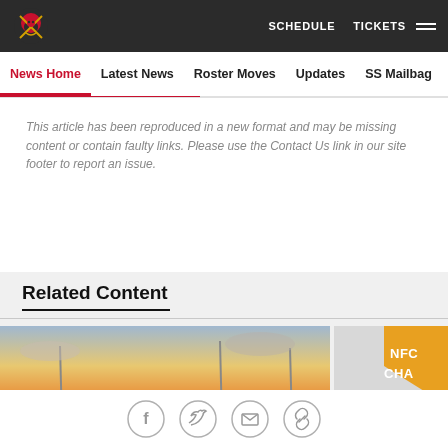Tampa Bay Buccaneers | SCHEDULE  TICKETS
News Home  Latest News  Roster Moves  Updates  SS Mailbag
This article has been reproduced in a new format and may be missing content or contain faulty links. Please use the Contact Us link in our site footer to report an issue.
Related Content
[Figure (photo): Football players on a field at sunset with sun low on the horizon]
[Figure (photo): Partially visible NFC Championship banner or signage in orange and white]